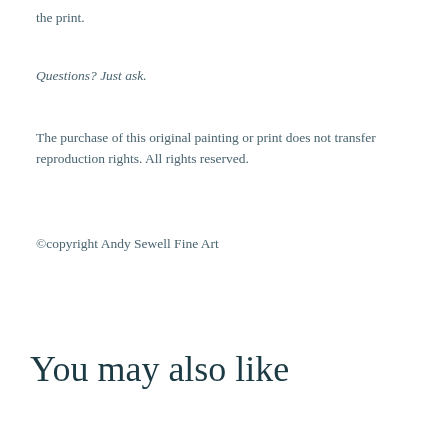the print.
Questions? Just ask.
The purchase of this original painting or print does not transfer reproduction rights. All rights reserved.
©copyright Andy Sewell Fine Art
You may also like